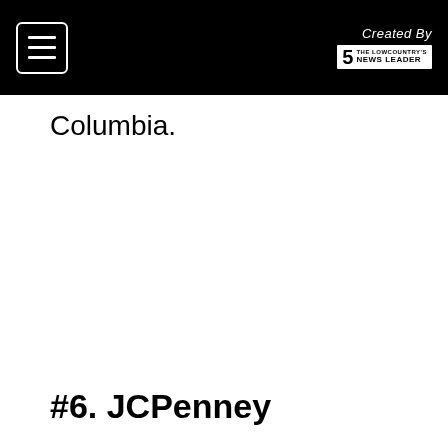Created By THE LOWCOUNTRY'S NEWS LEADER
Columbia.
#6. JCPenney